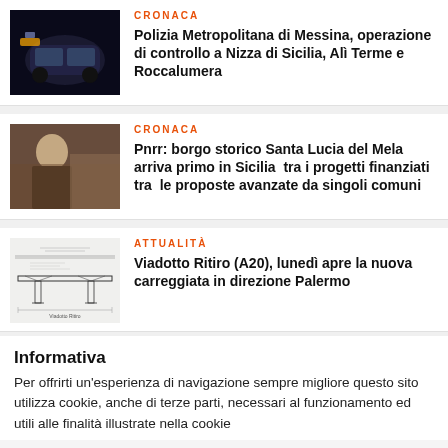[Figure (photo): Night photo of a police car]
CRONACA
Polizia Metropolitana di Messina, operazione di controllo a Nizza di Sicilia, Alì Terme e Roccalumera
[Figure (photo): A man in a suit at an event]
CRONACA
Pnrr: borgo storico Santa Lucia del Mela arriva primo in Sicilia  tra i progetti finanziati tra  le proposte avanzate da singoli comuni
[Figure (engineering-diagram): Blueprint or technical drawing of Viadotto Ritiro bridge structure]
ATTUALITÀ
Viadotto Ritiro (A20), lunedì apre la nuova carreggiata in direzione Palermo
Informativa
Per offrirti un'esperienza di navigazione sempre migliore questo sito utilizza cookie, anche di terze parti, necessari al funzionamento ed utili alle finalità illustrate nella cookie